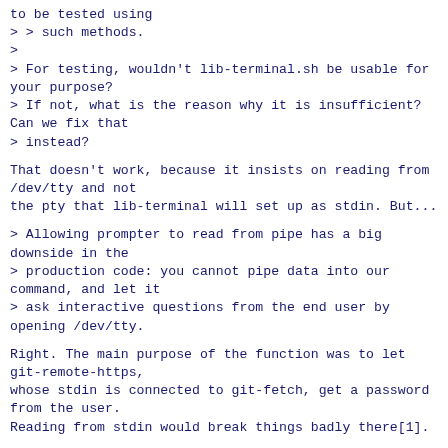to be tested using
> > such methods.
>
> For testing, wouldn't lib-terminal.sh be usable for your purpose?
> If not, what is the reason why it is insufficient? Can we fix that
> instead?
That doesn't work, because it insists on reading from /dev/tty and not
the pty that lib-terminal will set up as stdin. But...
> Allowing prompter to read from pipe has a big downside in the
> production code: you cannot pipe data into our command, and let it
> ask interactive questions from the end user by opening /dev/tty.
Right. The main purpose of the function was to let git-remote-https,
whose stdin is connected to git-fetch, get a password from the user.
Reading from stdin would break things badly there[1].
Looking at the second patch, the motivation here seems to be to use
git_prompt() for another run-of-the-mill prompt. But the right answer